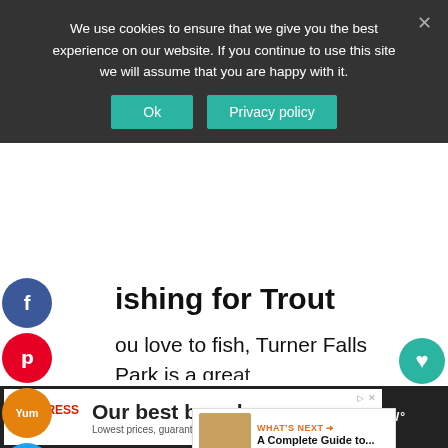We use cookies to ensure that we give you the best experience on our website. If you continue to use this site we will assume that you are happy with it.
Ok    Privacy policy
Fishing for Trout
If you love to fish, Turner Falls Park is a great place to fish for trout. In fact, the park is well known for its abundant trout in the waters. The fishing season for trout is typically November – March.
[Figure (infographic): Social media share sidebar buttons: Facebook, Pinterest, Yummly, Twitter, Flipboard, Mix, Reddit]
[Figure (infographic): Like widget showing heart icon and 2.8K count, share icon]
[Figure (infographic): What's Next promotional box: A Complete Guide to...]
[Figure (infographic): Advertisement banner: Mattress Firm - Our best brands. Lowest prices, guaranteed.]